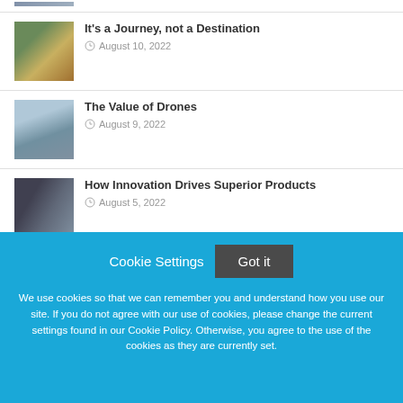[Figure (photo): Partial thumbnail of an article image at top, partially visible]
It's a Journey, not a Destination
August 10, 2022
The Value of Drones
August 9, 2022
How Innovation Drives Superior Products
August 5, 2022
Cookie Settings  Got it

We use cookies so that we can remember you and understand how you use our site. If you do not agree with our use of cookies, please change the current settings found in our Cookie Policy. Otherwise, you agree to the use of the cookies as they are currently set.